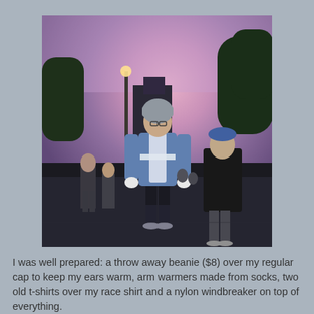[Figure (photo): A man standing on a dark road at dawn/dusk before a race, wearing a blue and gray windbreaker jacket with a reflective strip, black shorts, dark knee-high socks, running shoes, white gloves, and a gray beanie over a cap. Other runners are visible in the background, one wearing a black garbage bag. The sky shows a purple-pink twilight.]
I was well prepared: a throw away beanie ($8) over my regular cap to keep my ears warm, arm warmers made from socks, two old t-shirts over my race shirt and a nylon windbreaker on top of everything.